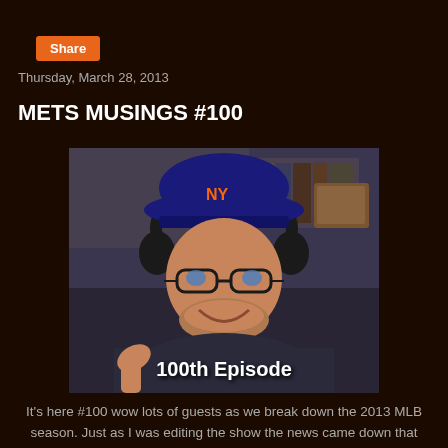Share
Thursday, March 28, 2013
METS MUSINGS #100
[Figure (photo): Man wearing a NY Mets baseball cap and headphones, smiling and giving a thumbs up. Text overlay reads '100th Episode'.]
It's here #100 wow lots of guests as we break down the 2013 MLB season. Just as I was editing the show the news came down that Johan Santana is likely out for the season. Sad